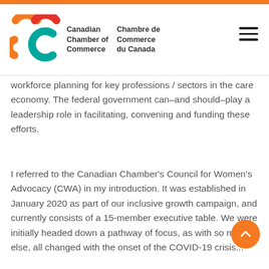Canadian Chamber of Commerce / Chambre de Commerce du Canada
workforce planning for key professions / sectors in the care economy.  The federal government can–and should–play a leadership role in facilitating, convening and funding these efforts.
I referred to the Canadian Chamber's Council for Women's Advocacy (CWA) in my introduction.  It was established in January 2020 as part of our inclusive growth campaign, and currently consists of a 15-member executive table.  We were initially headed down a pathway of focus, as with so much else, all changed with the onset of the COVID-19 crisis...